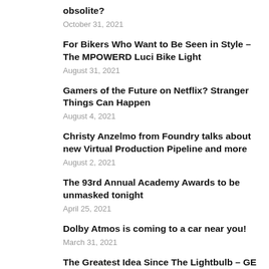obsolite?
October 31, 2021
For Bikers Who Want to Be Seen in Style – The MPOWERD Luci Bike Light
August 31, 2021
Gamers of the Future on Netflix? Stranger Things Can Happen
August 4, 2021
Christy Anzelmo from Foundry talks about new Virtual Production Pipeline and more
August 2, 2021
The 93rd Annual Academy Awards to be unmasked tonight
April 25, 2021
Dolby Atmos is coming to a car near you!
March 31, 2021
The Greatest Idea Since The Lightbulb – GE LED+